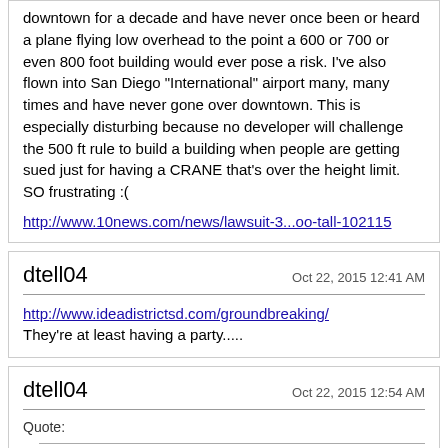downtown for a decade and have never once been or heard a plane flying low overhead to the point a 600 or 700 or even 800 foot building would ever pose a risk. I've also flown into San Diego "International" airport many, many times and have never gone over downtown. This is especially disturbing because no developer will challenge the 500 ft rule to build a building when people are getting sued just for having a CRANE that's over the height limit. SO frustrating :(

http://www.10news.com/news/lawsuit-3...oo-tall-102115
dtell04
Oct 22, 2015 12:41 AM
http://www.ideadistrictsd.com/groundbreaking/
They're at least having a party.....
dtell04
Oct 22, 2015 12:54 AM
Quote:
Originally Posted by mello (Post 7197148)
Or a developer with some balls or gravitas decides to challenge the FAA/City who ever enforces these silly rules. I think the lot behind Petco Park that JMI owns is very far from the flight path and a 750 footer there could get done, or 1st and Island is way south and BOSA could push for a 700 foot plus.